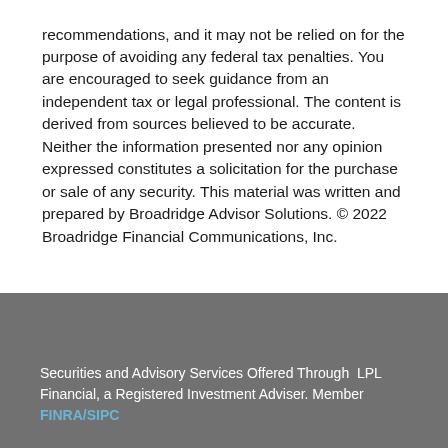recommendations, and it may not be relied on for the purpose of avoiding any federal tax penalties. You are encouraged to seek guidance from an independent tax or legal professional. The content is derived from sources believed to be accurate. Neither the information presented nor any opinion expressed constitutes a solicitation for the purchase or sale of any security. This material was written and prepared by Broadridge Advisor Solutions. © 2022 Broadridge Financial Communications, Inc.
Securities and Advisory Services Offered Through LPL Financial, a Registered Investment Adviser. Member FINRA/SIPC